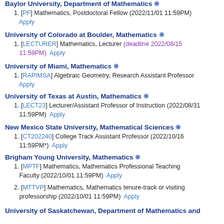Baylor University, Department of Mathematics ❋
[PF] Mathematics, Postdoctoral Fellow (2022/11/01 11:59PM) Apply
University of Colorado at Boulder, Mathematics ❋
[LECTURER] Mathematics, Lecturer (deadline 2022/08/15 11:59PM) Apply
University of Miami, Mathematics ❋
[RAPIMSA] Algebraic Geometry, Research Assistant Professor Apply
University of Texas at Austin, Mathematics ❋
[LECT23] Lecturer/Assistant Professor of Instruction (2022/08/31 11:59PM) Apply
New Mexico State University, Mathematical Sciences ❋
[CT202240] College Track Assistant Professor (2022/10/16 11:59PM*) Apply
Brigham Young University, Mathematics ❋
[MPTF] Mathematics, Mathematics Professional Teaching Faculty (2022/10/01 11:59PM) Apply
[MTTVP] Mathematics, Mathematics tenure-track or visiting professorship (2022/10/01 11:59PM) Apply
University of Saskatchewan, Department of Mathematics and